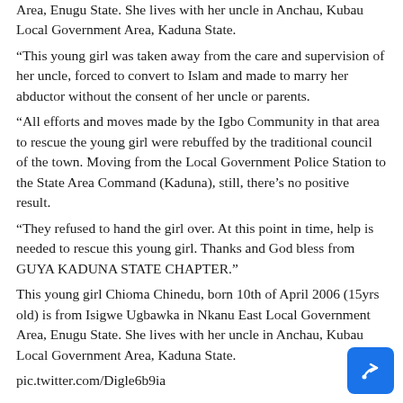Area, Enugu State. She lives with her uncle in Anchau, Kubau Local Government Area, Kaduna State.
“This young girl was taken away from the care and supervision of her uncle, forced to convert to Islam and made to marry her abductor without the consent of her uncle or parents.
“All efforts and moves made by the Igbo Community in that area to rescue the young girl were rebuffed by the traditional council of the town. Moving from the Local Government Police Station to the State Area Command (Kaduna), still, there’s no positive result.
“They refused to hand the girl over. At this point in time, help is needed to rescue this young girl. Thanks and God bless from GUYA KADUNA STATE CHAPTER.”
This young girl Chioma Chinedu, born 10th of April 2006 (15yrs old) is from Isigwe Ugbawka in Nkanu East Local Government Area, Enugu State. She lives with her uncle in Anchau, Kubau Local Government Area, Kaduna State.
pic.twitter.com/Digle6b9ia